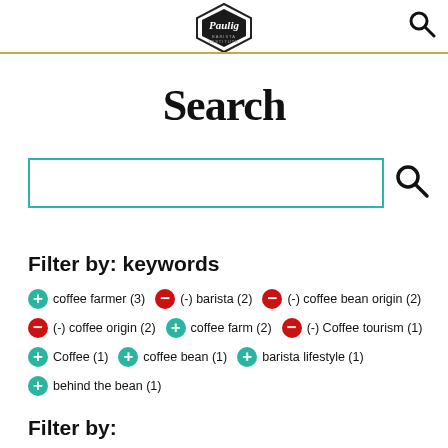Paulig Barista Institute logo and search icon
Search
[Figure (other): Search input box with teal border and search magnifier icon]
Filter by: keywords
+ coffee farmer (3)  - (-) barista (2)  - (-) coffee bean origin (2)
- (-) coffee origin (2)  + coffee farm (2)  - (-) Coffee tourism (1)
+ Coffee (1)  + coffee bean (1)  + barista lifestyle (1)
+ behind the bean (1)
Filter by: